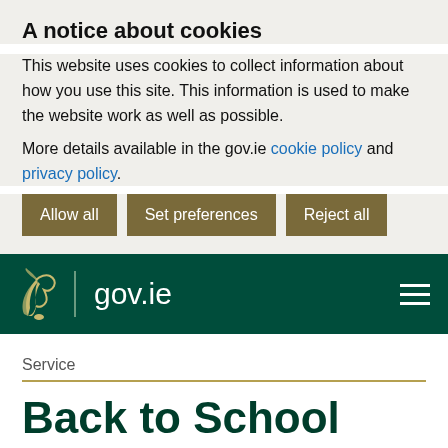A notice about cookies
This website uses cookies to collect information about how you use this site. This information is used to make the website work as well as possible.
More details available in the gov.ie cookie policy and privacy policy.
Allow all
Set preferences
Reject all
gov.ie
Service
Back to School Clothing